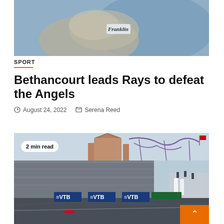[Figure (photo): Close-up photo of a baseball player's gloved hand, Franklin-branded batting glove visible, blue and white uniform]
SPORT
Bethancourt leads Rays to defeat the Angels
August 24, 2022   Serena Reed
[Figure (photo): Aerial view of a Formula 1 race circuit (Sochi Autodrom) with VTB branded banners, grandstands packed with spectators, roller coaster and castle-like hotel visible in background. Badge reads '2 min read'.]